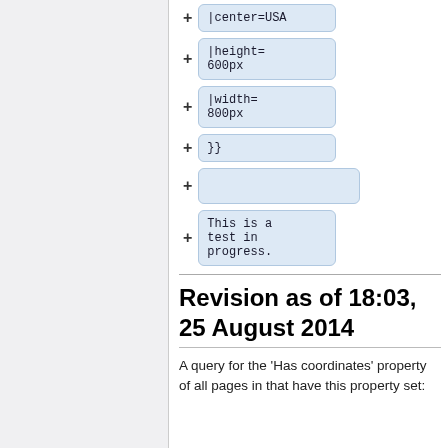|center=USA
|height=
600px
|width=
800px
}}
This is a test in progress.
Revision as of 18:03, 25 August 2014
A query for the 'Has coordinates' property of all pages in that have this property set: